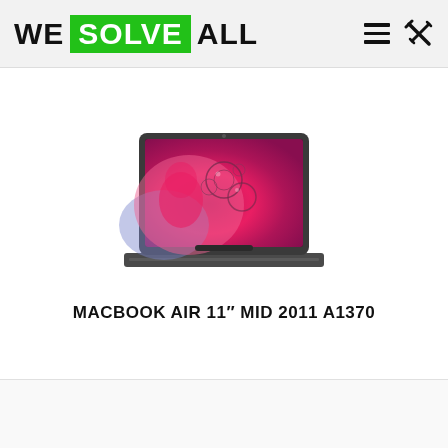WE SOLVE ALL
[Figure (photo): MacBook Air laptop open with a pink/red bubbles wallpaper on screen, dark gray aluminum body, viewed from slightly above front angle]
MACBOOK AIR 11″ MID 2011 A1370